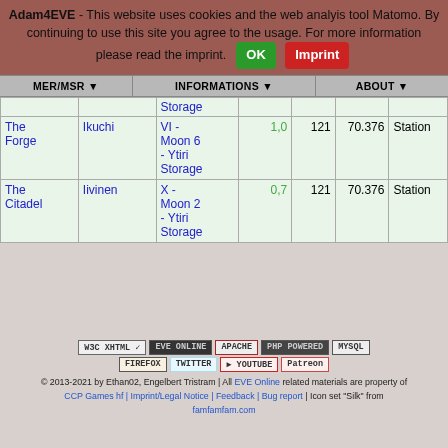Adam4EVE - This website uses cookies and the web analyis tool Matomo. By continuing to use this site you agree to the usage. For more information please read the imprint. [OK] [Imprint]
MER/MSR ▼   INFORMATIONS ▼   ABOUT ▼
|  |  |  |  |  |  |  |
| --- | --- | --- | --- | --- | --- | --- |
|  |  | Storage |  |  |  |  |
| The Forge | Ikuchi | VI - Moon 6 - Ytiri Storage | 1,0 | 121 | 70.376 | Station |
| The Citadel | Iivinen | X - Moon 2 - Ytiri Storage | 0,7 | 121 | 70.376 | Station |
© 2013-2021 by Ethan02, Engelbert Tristram | All EVE Online related materials are property of CCP Games hf | Imprint/Legal Notice | Feedback | Bug report | Icon set "Silk" from famfamfam.com